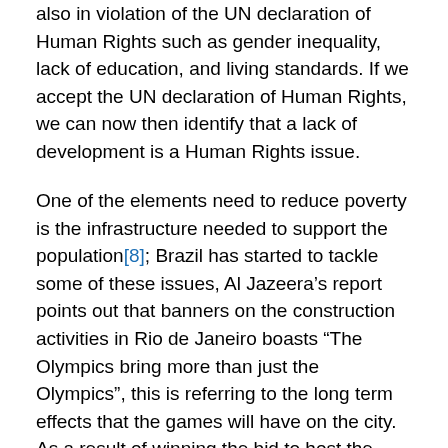also in violation of the UN declaration of Human Rights such as gender inequality, lack of education, and living standards. If we accept the UN declaration of Human Rights, we can now then identify that a lack of development is a Human Rights issue.
One of the elements need to reduce poverty is the infrastructure needed to support the population[8]; Brazil has started to tackle some of these issues, Al Jazeera's report points out that banners on the construction activities in Rio de Janeiro boasts “The Olympics bring more than just the Olympics”, this is referring to the long term effects that the games will have on the city. As a result of winning the bid to host the Olympic Games several projects have been started across Brazil which aim to develop communication, electricity, sanitation, roads, transport, water, and other infrastructure in the host cities. While the